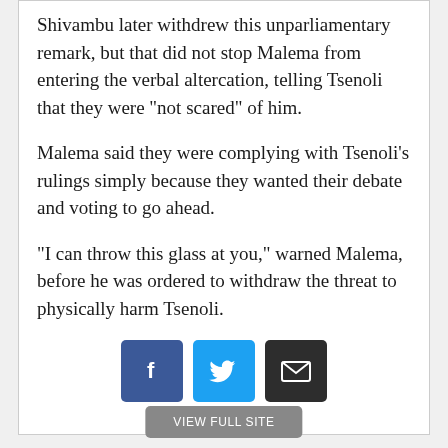Shivambu later withdrew this unparliamentary remark, but that did not stop Malema from entering the verbal altercation, telling Tsenoli that they were "not scared" of him.
Malema said they were complying with Tsenoli's rulings simply because they wanted their debate and voting to go ahead.
"I can throw this glass at you," warned Malema, before he was ordered to withdraw the threat to physically harm Tsenoli.
[Figure (infographic): Three social sharing buttons: Facebook (blue), Twitter (light blue), Email (dark/black)]
VIEW FULL SITE